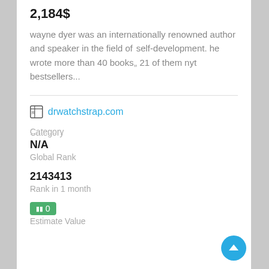2,184$
wayne dyer was an internationally renowned author and speaker in the field of self-development. he wrote more than 40 books, 21 of them nyt bestsellers...
drwatchstrap.com
Category
N/A
Global Rank
2143413
Rank in 1 month
0
Estimate Value